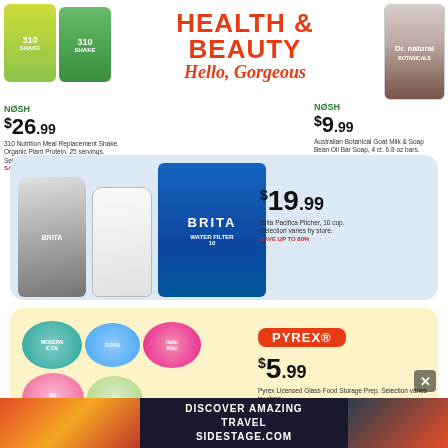HEALTH & BEAUTY
Hello, Gorgeous
NOSH $26.99 310 Nutrition Meal Replacement Shake. Organic Plant Protein. 25 servings. Selection varies by store. SAVE UP TO 80%
NOSH $9.99 Australian Botanical Goat Milk & Soap Bean Oil Bar Soap, 4 ct. 6.8 oz bars. Selection varies by store. SAVE UP TO 80%
Brita Pacifica Pitcher, 10 cup. Selection varies by store. $19.99 SAVE UP TO 80%
[Figure (photo): Brita water pitchers (gray and white) and Brita Pacifica box]
PYREX $5.99 Pyrex Licensed Glass Food Storage Prep. Selection varies by store. SAVE UP TO 60%
[Figure (photo): Pyrex licensed glass food storage bowls with colorful lids (Modern Icon, Hello Kitty, Be Bold designs)]
DISCOVER AMAZING TRAVEL SIDESTAGE.COM